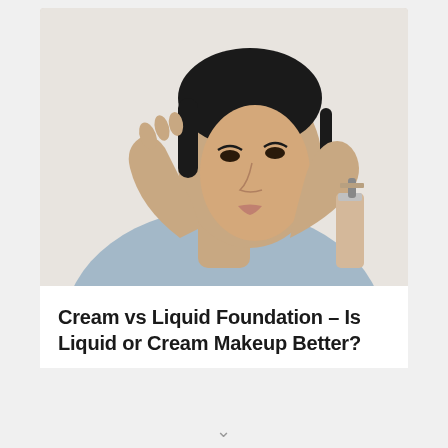[Figure (photo): A woman applying liquid foundation to her face with her fingers, holding a pump bottle of foundation in her other hand. She is wearing a light blue top and has dark hair pulled back. The background is white.]
Cream vs Liquid Foundation – Is Liquid or Cream Makeup Better?
By Ellis James / No Comments